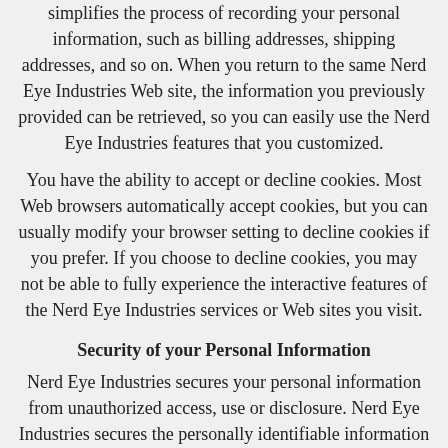simplifies the process of recording your personal information, such as billing addresses, shipping addresses, and so on. When you return to the same Nerd Eye Industries Web site, the information you previously provided can be retrieved, so you can easily use the Nerd Eye Industries features that you customized.
You have the ability to accept or decline cookies. Most Web browsers automatically accept cookies, but you can usually modify your browser setting to decline cookies if you prefer. If you choose to decline cookies, you may not be able to fully experience the interactive features of the Nerd Eye Industries services or Web sites you visit.
Security of your Personal Information
Nerd Eye Industries secures your personal information from unauthorized access, use or disclosure. Nerd Eye Industries secures the personally identifiable information